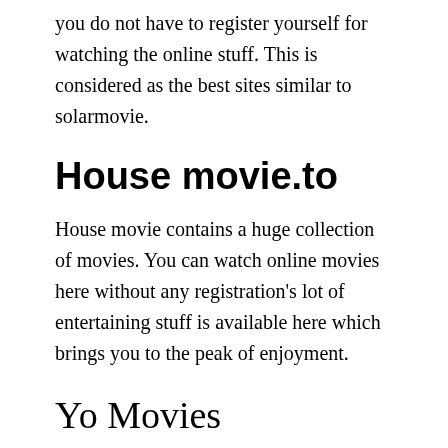you do not have to register yourself for watching the online stuff. This is considered as the best sites similar to solarmovie.
House movie.to
House movie contains a huge collection of movies. You can watch online movies here without any registration's lot of entertaining stuff is available here which brings you to the peak of enjoyment.
Yo Movies
Yo Movie is the best site similar to solarmovie with awesome content for watching movies and other